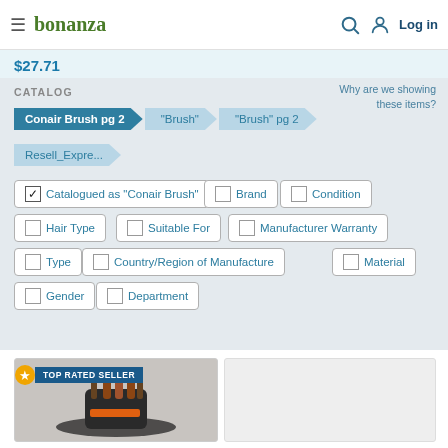bonanza — Log in
$27.71
CATALOG
Conair Brush pg 2 | "Brush" | "Brush" pg 2 | Resell_Expre...
Why are we showing these items?
✓ Catalogued as "Conair Brush"
Brand
Condition
Hair Type
Suitable For
Manufacturer Warranty
Type
Country/Region of Manufacture
Material
Gender
Department
[Figure (photo): Product photo area showing a brush product with TOP RATED SELLER badge]